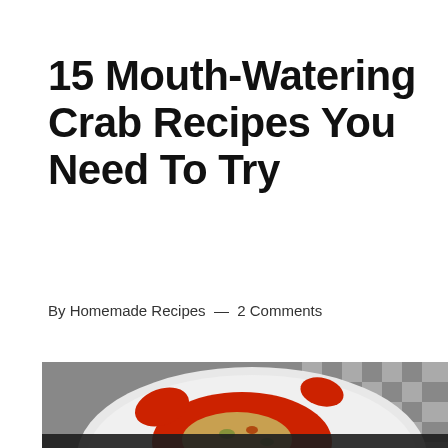15 Mouth-Watering Crab Recipes You Need To Try
By Homemade Recipes — 2 Comments
[Figure (photo): A plate with crab dish featuring red crab with rice/grain stuffing and garnish, on a white plate with checkered background cloth. Partially obscured by cookie consent overlay.]
We use cookies to personalize content and ads, to provide social media features and to analyze our traffic. You consent to our cookies if you continue to use our website.
MY SETTINGS   ACCEPT